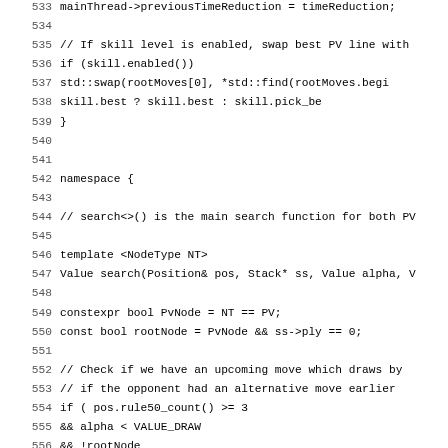Source code listing, lines 533–564, C++ chess engine search function
533: mainThread->previousTimeReduction = timeReduction;
534: (blank)
535: // If skill level is enabled, swap best PV line with
536: if (skill.enabled())
537:     std::swap(rootMoves[0], *std::find(rootMoves.begi
538:                     skill.best ? skill.best : skill.pick_be
539: }
540: (blank)
541: (blank)
542: namespace {
543: (blank)
544: // search<>() is the main search function for both PV
545: (blank)
546: template <NodeType NT>
547: Value search(Position& pos, Stack* ss, Value alpha, V
548: (blank)
549:     constexpr bool PvNode = NT == PV;
550:     const bool rootNode = PvNode && ss->ply == 0;
551: (blank)
552:     // Check if we have an upcoming move which draws by
553:     // if the opponent had an alternative move earlier
554:     if (    pos.rule50_count() >= 3
555:         && alpha < VALUE_DRAW
556:         && !rootNode
557:         && pos.has_game_cycle(ss->ply))
558:     {
559:         alpha = value_draw(depth, pos.this_thread());
560:         if (alpha >= beta)
561:             return alpha;
562:     }
563: (blank)
564:     // Dive into quiescence search when the depth reach